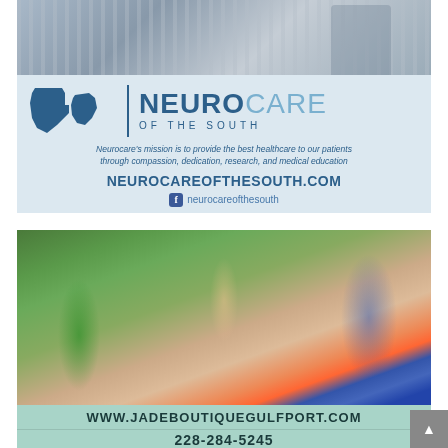[Figure (photo): Building exterior photo at top of Neurocare of the South advertisement]
[Figure (logo): Neurocare of the South logo with Texas and Louisiana state shapes and bold blue text reading NEUROCARE OF THE SOUTH]
Neurocare's mission is to provide the best healthcare to our patients through compassion, dedication, research, and medical education
NEUROCAREOFTHESOUTH.COM
neurocareofthesouth
[Figure (photo): Group photo of seven women in colorful outfits celebrating outdoors with confetti]
WWW.JADEBOUTIQUEGULFPORT.COM
228-284-5245